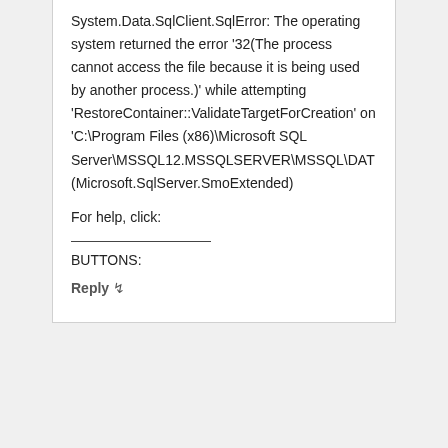System.Data.SqlClient.SqlError: The operating system returned the error '32(The process cannot access the file because it is being used by another process.)' while attempting 'RestoreContainer::ValidateTargetForCreation' on 'C:\Program Files (x86)\Microsoft SQL Server\MSSQL12.MSSQLSERVER\MSSQL\DAT (Microsoft.SqlServer.SmoExtended)
For help, click:
BUTTONS:
Reply